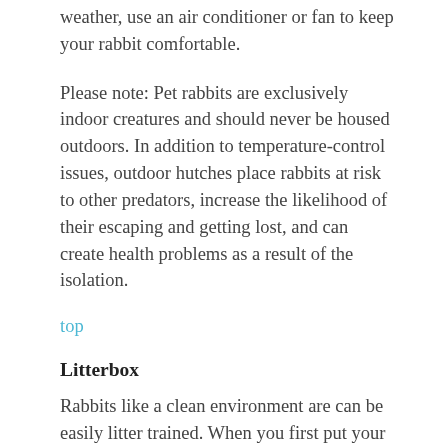weather, use an air conditioner or fan to keep your rabbit comfortable.
Please note: Pet rabbits are exclusively indoor creatures and should never be housed outdoors. In addition to temperature-control issues, outdoor hutches place rabbits at risk to other predators, increase the likelihood of their escaping and getting lost, and can create health problems as a result of the isolation.
top
Litterbox
Rabbits like a clean environment are can be easily litter trained. When you first put your rabbit in its new home, it will choose a corner or location to be used for its wastes. As soon as your pet has made its preference clear, put a newspaper-lined